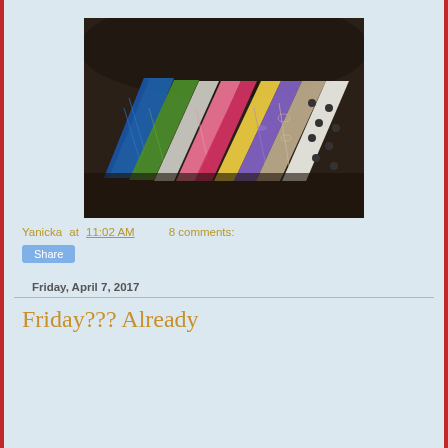[Figure (photo): Colorful folded fabrics fanned out on a dark leather couch. Fabrics include blue, green, white, pink, red, yellow, purple, taupe with scrollwork, and white with black polka dots patterns.]
Yanicka at 11:02 AM    8 comments:
Share
Friday, April 7, 2017
Friday??? Already